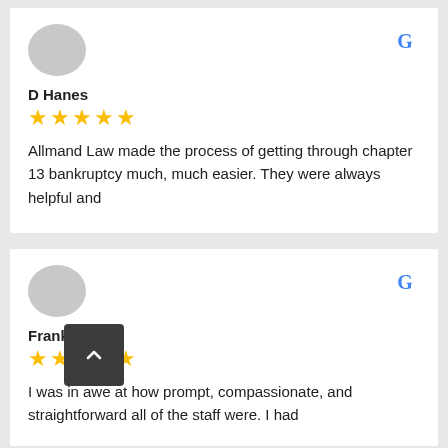[Figure (illustration): Gray circular avatar placeholder for reviewer D Hanes]
D Hanes
[Figure (illustration): Five yellow star rating for D Hanes review]
[Figure (logo): Google G logo in top right of first review card]
Allmand Law made the process of getting through chapter 13 bankruptcy much, much easier. They were always helpful and
[Figure (illustration): Gray circular avatar placeholder for reviewer Frank Oliver]
Frank Oliver
[Figure (illustration): Five yellow star rating for Frank Oliver review]
[Figure (logo): Google G logo in top right of second review card]
I was in awe at how prompt, compassionate, and straightforward all of the staff were. I had